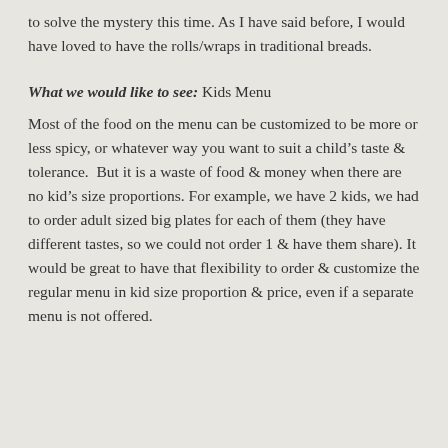to solve the mystery this time. As I have said before, I would have loved to have the rolls/wraps in traditional breads.
What we would like to see: Kids Menu
Most of the food on the menu can be customized to be more or less spicy, or whatever way you want to suit a child’s taste & tolerance.  But it is a waste of food & money when there are no kid’s size proportions. For example, we have 2 kids, we had to order adult sized big plates for each of them (they have different tastes, so we could not order 1 & have them share). It would be great to have that flexibility to order & customize the regular menu in kid size proportion & price, even if a separate menu is not offered.